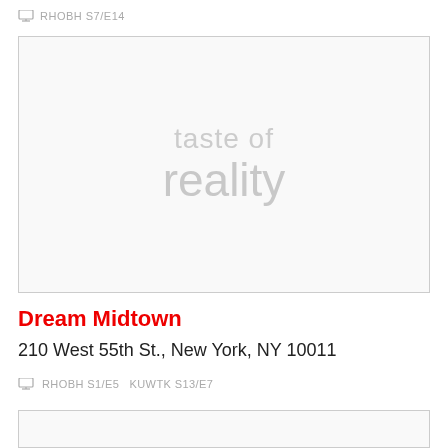RHOBH S7/E14
[Figure (illustration): Placeholder image box with 'taste of reality' watermark text in light gray]
Dream Midtown
210 West 55th St., New York, NY 10011
RHOBH S1/E5 KUWTK S13/E7
[Figure (illustration): Empty placeholder image box at bottom of page]